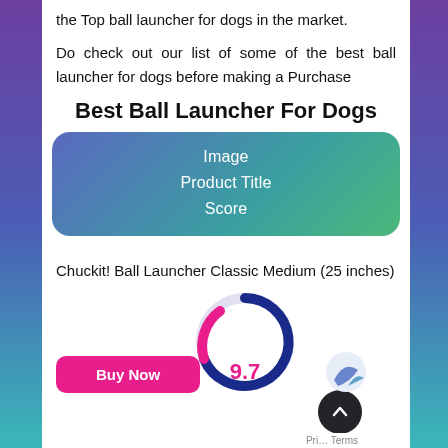the Top ball launcher for dogs in the market.
Do check out our list of some of the best ball launcher for dogs before making a Purchase
Best Ball Launcher For Dogs
[Figure (infographic): Rounded rectangle card with gradient background (blue to teal to green) containing three centered white text lines: Image, Product Title, Score]
Chuckit! Ball Launcher Classic Medium (25 inches)
[Figure (infographic): Buy Now button (pink/magenta) and a circular score gauge showing 9.7 in pink, with dark blue and pink arc segments]
[Figure (logo): Partial logo circle in bottom right area]
Pri… Terms